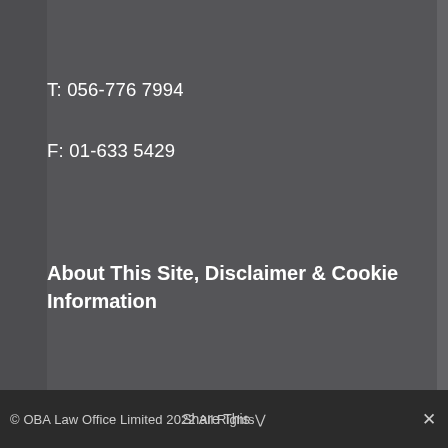T: 056-776 7994
F: 01-633 5429
About This Site, Disclaimer & Cookie Information
OBA Law Office Limited t/a O'Brien And Associates • Registered in Ireland: 541466 • Registered Office: As Above
© OBA Law Office Limited 2022 All Rights